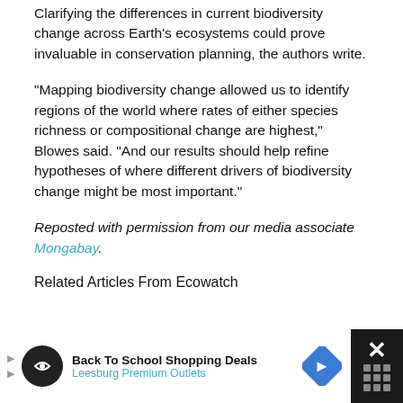Clarifying the differences in current biodiversity change across Earth’s ecosystems could prove invaluable in conservation planning, the authors write.
“Mapping biodiversity change allowed us to identify regions of the world where rates of either species richness or compositional change are highest,” Blowes said. “And our results should help refine hypotheses of where different drivers of biodiversity change might be most important.”
Reposted with permission from our media associate Mongabay.
Related Articles From Ecowatch
[Figure (other): Advertisement banner: Back To School Shopping Deals, Leesburg Premium Outlets, with close button]